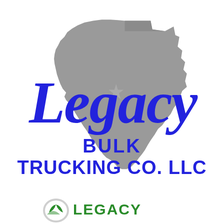[Figure (logo): Legacy Bulk Trucking Co. LLC logo: blue cursive 'Legacy' text overlaid on a gray silhouette of the state of Texas, with 'BULK TRUCKING CO. LLC' in bold blue block letters below]
[Figure (logo): Small Legacy Bulk Trucking logo at bottom: green leaf/truck icon with 'LEGACY' in green block letters, partially visible]